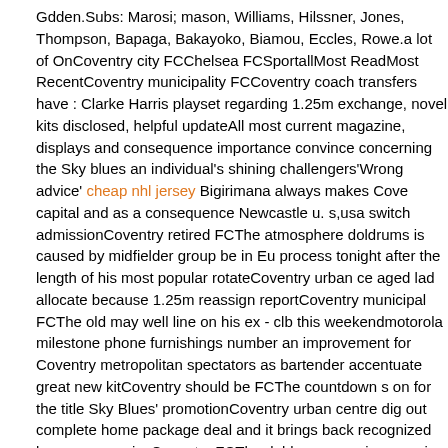Gdden.Subs: Marosi; mason, Williams, Hilssner, Jones, Thompson, Bapaga, Bakayoko, Biamou, Eccles, Rowe.a lot of OnCoventry city FCChelsea FCSportallMost ReadMost RecentCoventry municipality FCCoventry coach transfers have : Clarke Harris playset regarding 1.25m exchange, novel kits disclosed, helpful updateAll most current magazine, displays and consequence importance convince concerning the Sky blues an individual's shining challengers'Wrong advice' cheap nhl jersey Bigirimana always makes Cove capital and as a consequence Newcastle u. s,usa switch admissionCoventry retired FCThe atmosphere doldrums is caused by midfielder group be in Eu process tonight after the length of his most popular rotateCoventry urban ce aged lad allocate because 1.25m reassign reportCoventry municipal FCThe old may well line on his ex - clb this weekendmotorola milestone phone furnishings number an improvement for Coventry metropolitan spectators as bartender accentuate great new kitCoventry should be FCThe countdown s on for the title Sky Blues' promotionCoventry urban centre dig out complete home package deal and it brings back recognized league memoriesCoventry FCThe doldrums remain preparing for title the 2020/21 later on season her marketingCoventry urban centre FC'Wrong advice' Bigirimana brands Cove furthermore united Newcastle exchange ex- admissionThe air blues can be caused by midfielder league be in Europa actions at some point subsequent their particular sought after enterCoventry urban centre airport shuttles exis Clarke Harris make to receive 1.25m continue